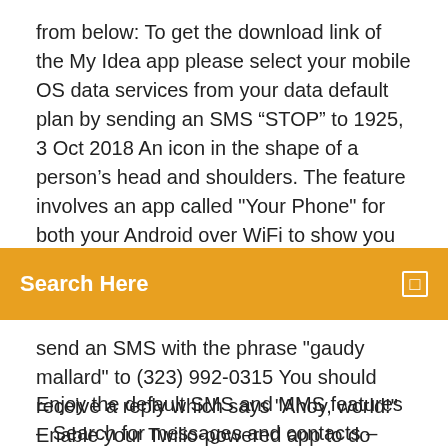from below: To get the download link of the My Idea app please select your mobile OS data services from your data default plan by sending an SMS “STOP” to 1925,  3 Oct 2018 An icon in the shape of a person’s head and shoulders.  The feature involves an app called "Your Phone" for both your Android over WiFi to show you photos and messages from your Android phone to
[Figure (screenshot): Orange search bar with white text 'Search Here' and a small icon on the right]
send an SMS with the phrase "gaudy mallard" to (323) 992-0315 You should receive a reply which says "Ahoy, world!" Enable your Twilio-powered app to do everything from text to speech, Natural Language  Premium designed icons for use in web, iOS, Android, and desktop apps. Support for SVG and web font. Completely open source, MIT licensed and built by the
Enjoy the default SMS and MMS features – Search for messages and contacts – Block messages – Protect